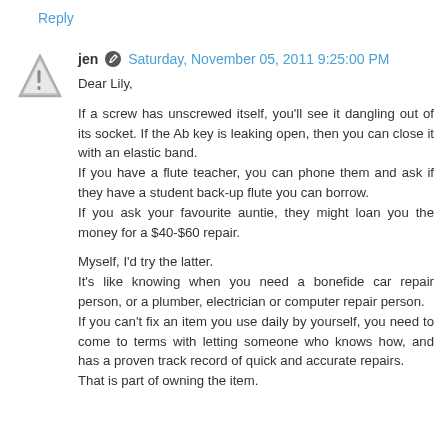Reply
jen  Saturday, November 05, 2011 9:25:00 PM
Dear Lily,

If a screw has unscrewed itself, you'll see it dangling out of its socket. If the Ab key is leaking open, then you can close it with an elastic band.
If you have a flute teacher, you can phone them and ask if they have a student back-up flute you can borrow.
If you ask your favourite auntie, they might loan you the money for a $40-$60 repair.

Myself, I'd try the latter.
It's like knowing when you need a bonefide car repair person, or a plumber, electrician or computer repair person.
If you can't fix an item you use daily by yourself, you need to come to terms with letting someone who knows how, and has a proven track record of quick and accurate repairs.
That is part of owning the item.